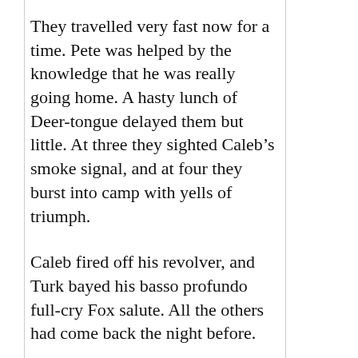They travelled very fast now for a time. Pete was helped by the knowledge that he was really going home. A hasty lunch of Deer-tongue delayed them but little. At three they sighted Caleb’s smoke signal, and at four they burst into camp with yells of triumph.
Caleb fired off his revolver, and Turk bayed his basso profundo full-cry Fox salute. All the others had come back the night before.
Sam said he had “gone ten mile and never got a sight of that blamed river.” Guy swore they had gone forty miles, and